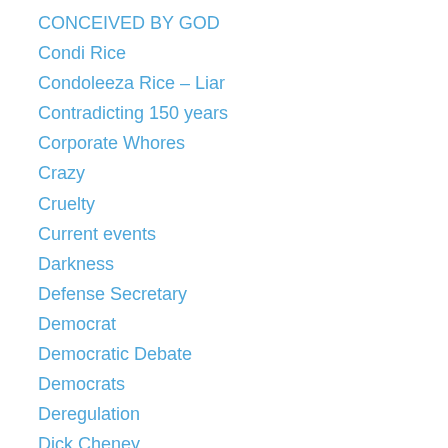CONCEIVED BY GOD
Condi Rice
Condoleeza Rice – Liar
Contradicting 150 years
Corporate Whores
Crazy
Cruelty
Current events
Darkness
Defense Secretary
Democrat
Democratic Debate
Democrats
Deregulation
Dick Cheney
Dick morris
Donald Rumsfeld
Donald Trump
Donald Trump Scam
Double-Standard